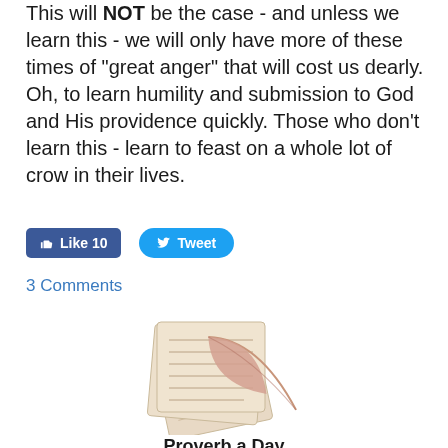This will NOT be the case - and unless we learn this - we will only have more of these times of "great anger" that will cost us dearly. Oh, to learn humility and submission to God and His providence quickly. Those who don't learn this - learn to feast on a whole lot of crow in their lives.
[Figure (other): Like 10 button (Facebook blue) and Tweet button (Twitter blue)]
3 Comments
[Figure (illustration): Illustration of old parchment papers with handwritten text and a quill/feather pen resting on them]
Proverb a Day